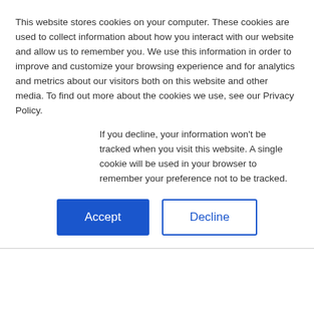This website stores cookies on your computer. These cookies are used to collect information about how you interact with our website and allow us to remember you. We use this information in order to improve and customize your browsing experience and for analytics and metrics about our visitors both on this website and other media. To find out more about the cookies we use, see our Privacy Policy.
If you decline, your information won't be tracked when you visit this website. A single cookie will be used in your browser to remember your preference not to be tracked.
Accept
Decline
Torreguadiaro
REF: R2797739   €874,500
5 BED | 3.5 BATH | 360 SQ M
SAVE PROPERTY